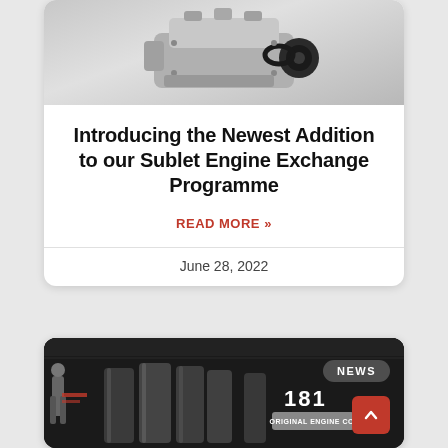[Figure (photo): Photo of a car engine (top view) on grey background]
Introducing the Newest Addition to our Sublet Engine Exchange Programme
READ MORE »
June 28, 2022
[Figure (photo): Photo of industrial engine cylinders/barrels in a workshop setting with a NEWS badge overlay]